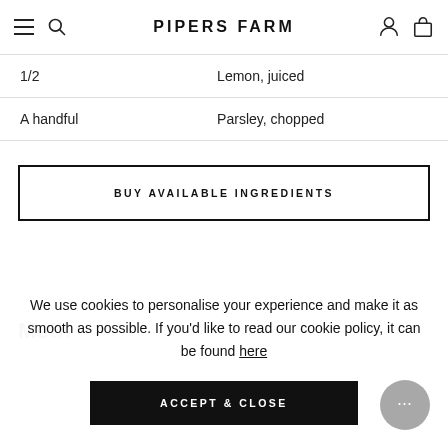PIPERS FARM
| Quantity | Ingredient |
| --- | --- |
| 1/2 | Lemon, juiced |
| A handful | Parsley, chopped |
BUY AVAILABLE INGREDIENTS
Method
We use cookies to personalise your experience and make it as smooth as possible. If you'd like to read our cookie policy, it can be found here
ACCEPT & CLOSE